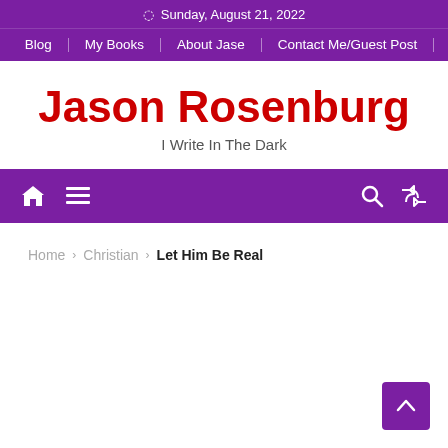Sunday, August 21, 2022
Blog | My Books | About Jase | Contact Me/Guest Post
Jason Rosenburg
I Write In The Dark
[Figure (other): Navigation toolbar with home icon, hamburger menu, search icon, and shuffle icon on purple background]
Home › Christian › Let Him Be Real